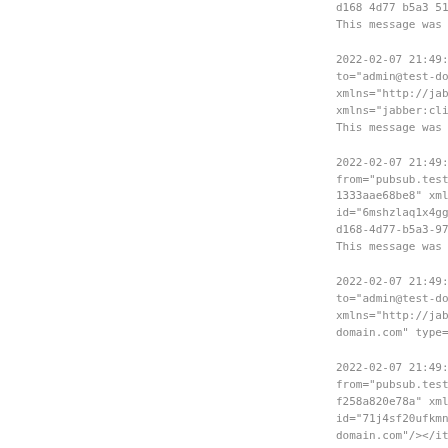d168 4d77 b5a3 512b...
This message was set a
2022-02-07 21:49:25 |
to="admin@test-domain.
xmlns="http://jabber.c
xmlns="jabber:client"
This message was set a
2022-02-07 21:49:25 |
from="pubsub.test-doma
1333aae68be8" xmlns="u
id="6mshzlaq1x4ggxwz25
d168-4d77-b5a3-972be77
This message was set a
2022-02-07 21:49:26 |
to="admin@test-domain.
xmlns="http://jabber.c
domain.com" type="subs
2022-02-07 21:49:26 |
from="pubsub.test-doma
f258a820e78a" xmlns="u
id="71j4sf20ufkmnmfxf3
domain.com"/></item></